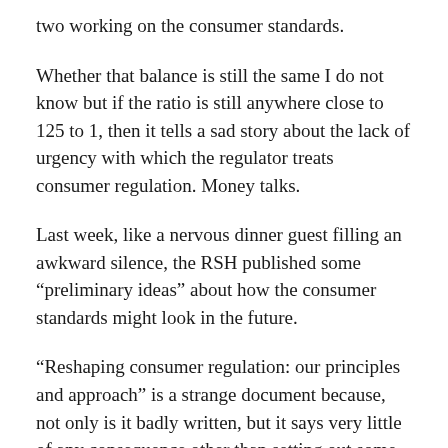two working on the consumer standards.
Whether that balance is still the same I do not know but if the ratio is still anywhere close to 125 to 1, then it tells a sad story about the lack of urgency with which the regulator treats consumer regulation. Money talks.
Last week, like a nervous dinner guest filling an awkward silence, the RSH published some “preliminary ideas” about how the consumer standards might look in the future.
“Reshaping consumer regulation: our principles and approach” is a strange document because, not only is it badly written, but it says very little of any consequence other than setting out some vague principles about how regulation might work in the future.